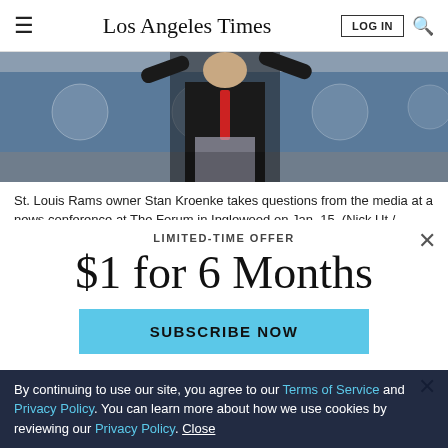Los Angeles Times
[Figure (photo): St. Louis Rams owner Stan Kroenke speaking at a podium at a news conference, with Rams banners in the background]
St. Louis Rams owner Stan Kroenke takes questions from the media at a news conference at The Forum in Inglewood on Jan. 15. (Nick Ut / Associated Press)
BY ROGER G. NOLL
LIMITED-TIME OFFER
$1 for 6 Months
SUBSCRIBE NOW
By continuing to use our site, you agree to our Terms of Service and Privacy Policy. You can learn more about how we use cookies by reviewing our Privacy Policy. Close